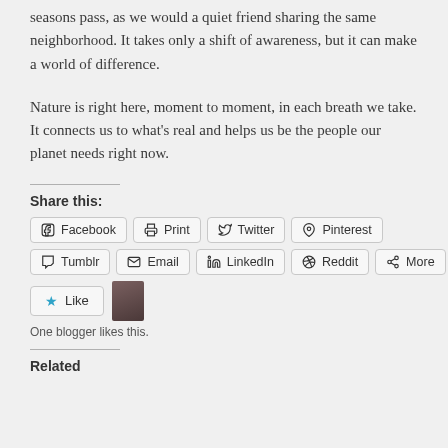seasons pass, as we would a quiet friend sharing the same neighborhood. It takes only a shift of awareness, but it can make a world of difference.
Nature is right here, moment to moment, in each breath we take. It connects us to what’s real and helps us be the people our planet needs right now.
Share this:
[Figure (other): Social sharing buttons: Facebook, Print, Twitter, Pinterest, Tumblr, Email, LinkedIn, Reddit, More]
[Figure (other): Like button with star icon and blogger avatar thumbnail. Text: One blogger likes this.]
Related